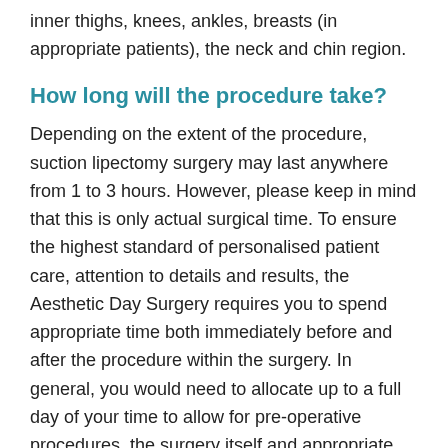inner thighs, knees, ankles, breasts (in appropriate patients), the neck and chin region.
How long will the procedure take?
Depending on the extent of the procedure, suction lipectomy surgery may last anywhere from 1 to 3 hours. However, please keep in mind that this is only actual surgical time. To ensure the highest standard of personalised patient care, attention to details and results, the Aesthetic Day Surgery requires you to spend appropriate time both immediately before and after the procedure within the surgery. In general, you would need to allocate up to a full day of your time to allow for pre-operative procedures, the surgery itself and appropriate post operative care. (Note: this time